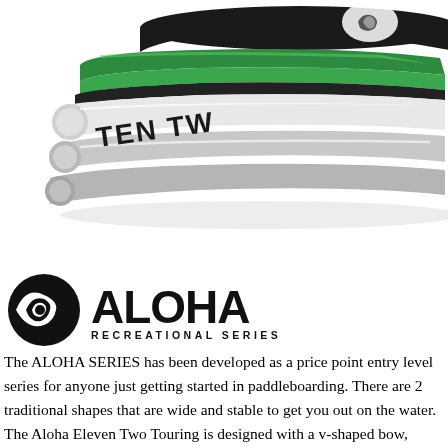[Figure (illustration): 3D illustration of stacked paddleboards in black, green, and white/silver with 'TEN TW' text visible on the side of one board]
[Figure (logo): Aloha Recreational Series logo: circular wave/eye icon on left, bold 'ALOHA' text in large letters, 'RECREATIONAL SERIES' in smaller caps below]
The ALOHA SERIES has been developed as a price point entry level series for anyone just getting started in paddleboarding. There are 2 traditional shapes that are wide and stable to get you out on the water. The Aloha Eleven Two Touring is designed with a v-shaped bow, which allows you to cruise straighter and faster. The Eleven, the Ten Two and the